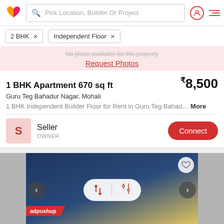Pick Location, Builder Or Project
2 BHK ×
Independent Floor ×
No photo available for this property
Request Photos
1 BHK Apartment 670 sq ft
₹8,500
Guru Teg Bahadur Nagar, Mohali
1 BHK Independent Builder Floor for Rent in Guru Teg Bahad... More
Seller
OWNER
[Figure (screenshot): Property listing photo showing a room with blue textured wall and white wall, with sort/filter pill overlay, adpushup badge, navigation arrows, and heart button]